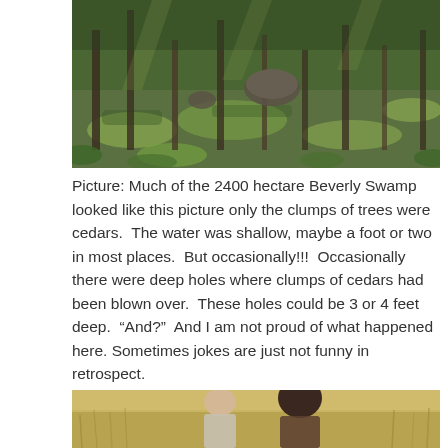[Figure (photo): A swamp scene with sparse trees standing in shallow water, sunlight filtering through the canopy, green undergrowth and mossy ground visible.]
Picture: Much of the 2400 hectare Beverly Swamp looked like this picture only the clumps of trees were cedars.  The water was shallow, maybe a foot or two in most places.  But occasionally!!!  Occasionally there were deep holes where clumps of cedars had been blown over.  These holes could be 3 or 4 feet deep.  “And?”  And I am not proud of what happened here. Sometimes jokes are just not funny in retrospect.
[Figure (photo): Two people standing in a field of tall grasses; one facing left, one with back to camera.]